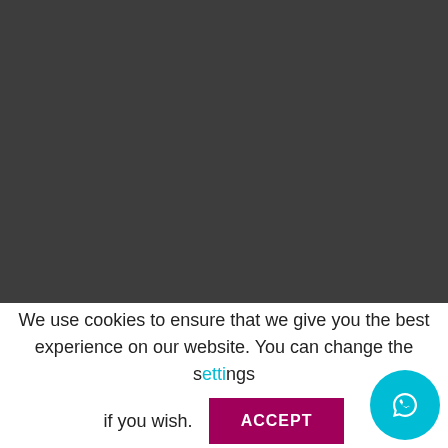[Figure (photo): Airplane photographed from below/behind against a dramatic sunset sky with orange, golden and blue-grey clouds]
01
October
We use cookies to ensure that we give you the best experience on our website. You can change the settings if you wish.